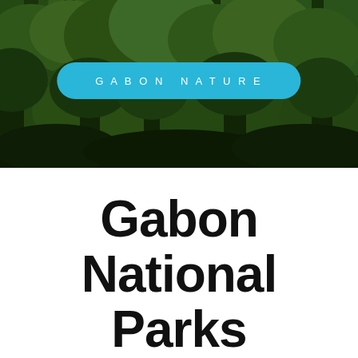[Figure (photo): Aerial view of dense tropical forest canopy in Gabon, with tall trees and green foliage filling the frame. A blue rounded pill-shaped badge overlaid in the center reads 'GABON NATURE' in white spaced capital letters.]
Gabon National Parks
10 of the most extraordinary national